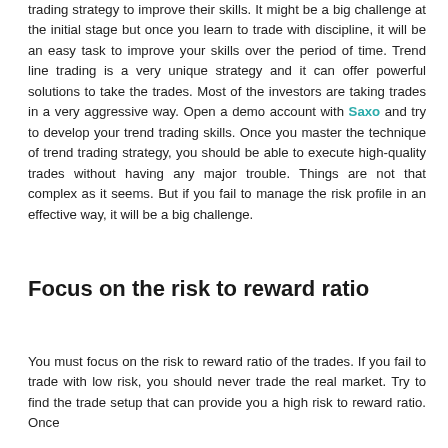trading strategy to improve their skills. It might be a big challenge at the initial stage but once you learn to trade with discipline, it will be an easy task to improve your skills over the period of time. Trend line trading is a very unique strategy and it can offer powerful solutions to take the trades. Most of the investors are taking trades in a very aggressive way. Open a demo account with Saxo and try to develop your trend trading skills. Once you master the technique of trend trading strategy, you should be able to execute high-quality trades without having any major trouble. Things are not that complex as it seems. But if you fail to manage the risk profile in an effective way, it will be a big challenge.
Focus on the risk to reward ratio
You must focus on the risk to reward ratio of the trades. If you fail to trade with low risk, you should never trade the real market. Try to find the trade setup that can provide you a high risk to reward ratio. Once